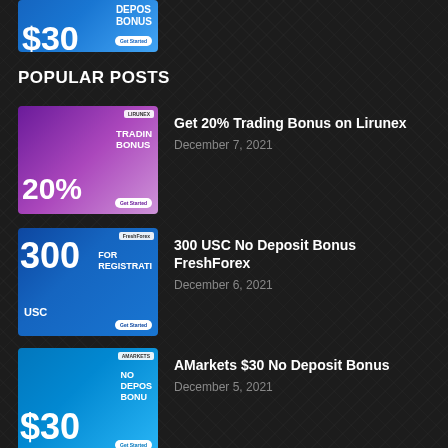[Figure (illustration): Partial blue banner showing $30 No Deposit Bonus with Get Started button, cut off at top of page]
POPULAR POSTS
[Figure (illustration): Purple/pink 20% Trading Bonus on Lirunex promotional banner thumbnail]
Get 20% Trading Bonus on Lirunex
December 7, 2021
[Figure (illustration): Blue 300 USC No Deposit Bonus FreshForex promotional banner thumbnail]
300 USC No Deposit Bonus FreshForex
December 6, 2021
[Figure (illustration): Blue AMarkets $30 No Deposit Bonus promotional banner thumbnail]
AMarkets $30 No Deposit Bonus
December 5, 2021